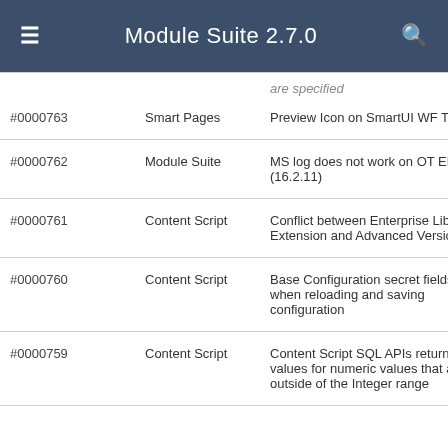Module Suite 2.7.0
| ID | Module | Description |
| --- | --- | --- |
| #0000763 | Smart Pages | Preview Icon on SmartUI WF Task |
| #0000762 | Module Suite | MS log does not work on OT EP8 (16.2.11) |
| #0000761 | Content Script | Conflict between Enterprise Library Extension and Advanced Version Control API |
| #0000760 | Content Script | Base Configuration secret fields data lost when reloading and saving configuration |
| #0000759 | Content Script | Content Script SQL APIs return wrong values for numeric values that are outside of the Integer range |